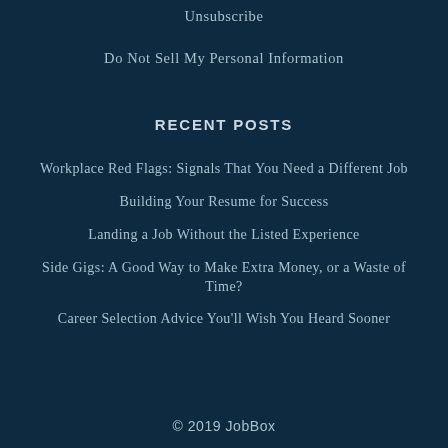Unsubscribe
Do Not Sell My Personal Information
RECENT POSTS
Workplace Red Flags: Signals That You Need a Different Job
Building Your Resume for Success
Landing a Job Without the Listed Experience
Side Gigs: A Good Way to Make Extra Money, or a Waste of Time?
Career Selection Advice You'll Wish You Heard Sooner
© 2019 JobBox